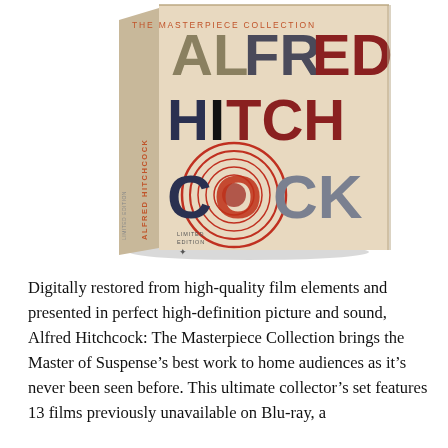[Figure (illustration): Product photo of the Alfred Hitchcock: The Masterpiece Collection Blu-ray box set. The box has a cream/beige background with large stylized letters spelling 'ALFRED HITCH COCK' in mixed colors (gray, dark red/maroon, blue, orange-red). The spine reads 'ALFRED HITCHCOCK' vertically. The front features a red spiral/circle design. Text reads 'THE MASTERPIECE COLLECTION' at the top and 'LIMITED EDITION' near the bottom.]
Digitally restored from high-quality film elements and presented in perfect high-definition picture and sound, Alfred Hitchcock: The Masterpiece Collection brings the Master of Suspense's best work to home audiences as it's never been seen before. This ultimate collector's set features 13 films previously unavailable on Blu-ray, a